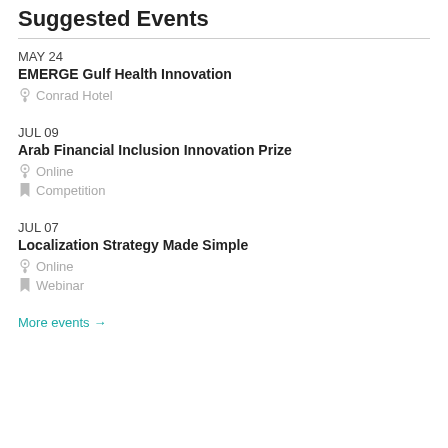Suggested Events
MAY 24 | EMERGE Gulf Health Innovation | Conrad Hotel
JUL 09 | Arab Financial Inclusion Innovation Prize | Online | Competition
JUL 07 | Localization Strategy Made Simple | Online | Webinar
More events →